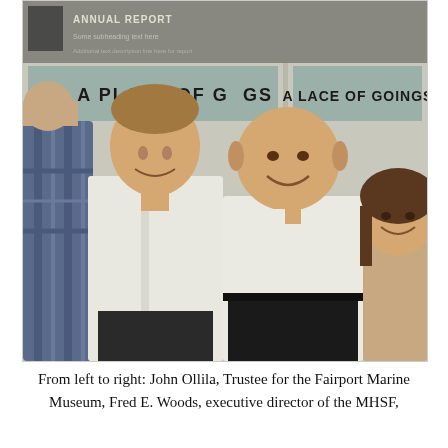[Figure (photo): Group photo of four people standing in front of exhibit panels reading 'A PLACE OF GOINGS'. From left: partially visible person in plaid shirt, a tall younger man in white dress shirt smiling, an older bald man in white shirt smiling, and a young woman in tan/beige top smiling.]
From left to right: John Ollila, Trustee for the Fairport Marine Museum, Fred E. Woods, executive director of the MHSF,